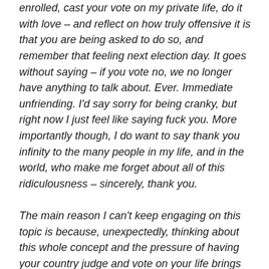enrolled, cast your vote on my private life, do it with love – and reflect on how truly offensive it is that you are being asked to do so, and remember that feeling next election day. It goes without saying – if you vote no, we no longer have anything to talk about. Ever. Immediate unfriending. I'd say sorry for being cranky, but right now I just feel like saying fuck you. More importantly though, I do want to say thank you infinity to the many people in my life, and in the world, who make me forget about all of this ridiculousness – sincerely, thank you.

The main reason I can't keep engaging on this topic is because, unexpectedly, thinking about this whole concept and the pressure of having your country judge and vote on your life brings back a flood of memories of homophobia across my life, and I spontaneously cry! I'm an emotionally stable person and I and I spontaneously cry because of this and